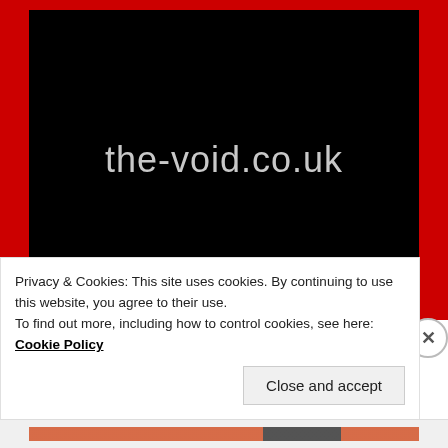[Figure (logo): Black rectangle with red border showing the text 'the-void.co.uk' in light grey on black background]
Privacy & Cookies: This site uses cookies. By continuing to use this website, you agree to their use.
To find out more, including how to control cookies, see here: Cookie Policy
Close and accept